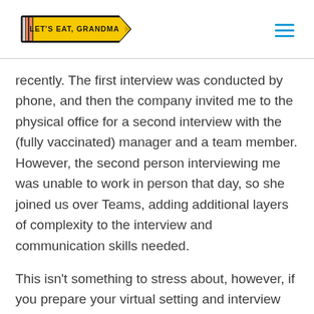[Figure (logo): Let's Eat, Grandma logo — pencil shape in black outline with yellow fill, text 'LET'S EAT, GRANDMA' in bold black letters on yellow background, with a pink/salmon eraser on the left and pencil tip on the right]
recently. The first interview was conducted by phone, and then the company invited me to the physical office for a second interview with the (fully vaccinated) manager and a team member. However, the second person interviewing me was unable to work in person that day, so she joined us over Teams, adding additional layers of complexity to the interview and communication skills needed.
This isn't something to stress about, however, if you prepare your virtual setting and interview responses in advance. If you find you're going